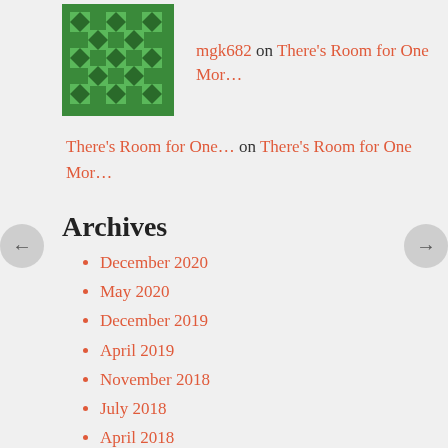mgk682 on There's Room for One Mor…
There's Room for One… on There's Room for One Mor…
Archives
December 2020
May 2020
December 2019
April 2019
November 2018
July 2018
April 2018
March 2018
January 2018